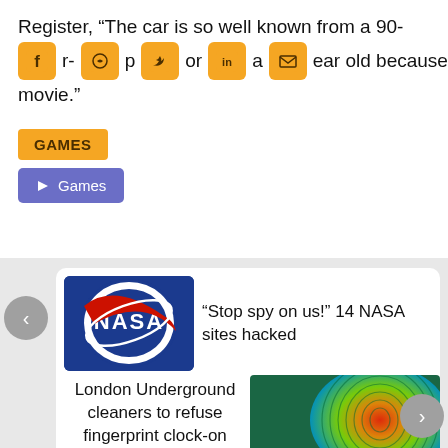Register, “The car is so well known from a 90-year old because of that movie.”
[Figure (infographic): Social media share icons row: Facebook, WhatsApp, Twitter, LinkedIn, Email — all in orange rounded square buttons]
GAMES
◈ Games
[Figure (infographic): Carousel with left arrow button, NASA logo image, headline: Stop spy on us! 14 NASA sites hacked, fingerprint image, text: London Underground cleaners to refuse fingerprint clock-on, right arrow button]